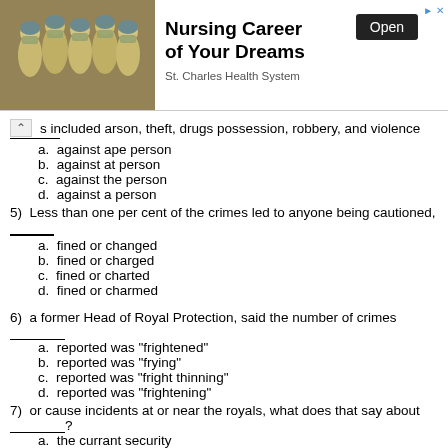[Figure (photo): Advertisement banner for nursing careers showing a group of healthcare workers in PPE gowns and masks. Text reads 'Nursing Career of Your Dreams', 'St. Charles Health System', with an 'Open' button.]
s included arson, theft, drugs possession, robbery, and violence
a.  against ape person
b.  against at person
c.  against the person
d.  against a person
5)  Less than one per cent of the crimes led to anyone being cautioned, ________
a.  fined or changed
b.  fined or charged
c.  fined or charted
d.  fined or charmed
6)  a former Head of Royal Protection, said the number of crimes ______
a.  reported was "frightened"
b.  reported was "frying"
c.  reported was "fright thinning"
d.  reported was "frightening"
7)  or cause incidents at or near the royals, what does that say about _______?
a.  the currant security